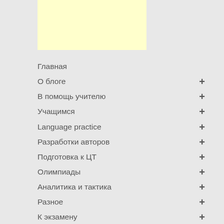[Figure (other): Yellow rectangular banner/advertisement placeholder]
Главная
О блоге +
В помощь учителю +
Учащимся +
Language practice +
Разработки авторов +
Подготовка к ЦТ +
Олимпиады +
Аналитика и тактика +
Разное +
К экзамену +
Экзамен 2021 +